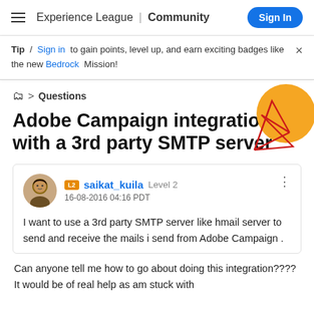Experience League | Community  Sign In
Tip / Sign in to gain points, level up, and earn exciting badges like the new Bedrock Mission!
> Questions
Adobe Campaign integration with a 3rd party SMTP server
saikat_kuila  Level 2
16-08-2016 04:16 PDT
I want to use a 3rd party SMTP server like hmail server to send and receive the mails i send from Adobe Campaign .
Can anyone tell me how to go about doing this integration???? It would be of real help as am stuck with